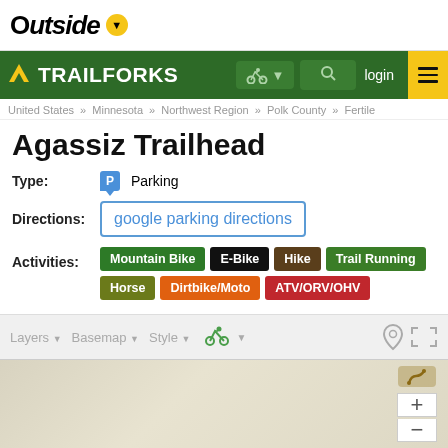Outside
TRAILFORKS login
United States » Minnesota » Northwest Region » Polk County » Fertile
Agassiz Trailhead
Type: Parking
Directions: google parking directions
Activities: Mountain Bike E-Bike Hike Trail Running Horse Dirtbike/Moto ATV/ORV/OHV
[Figure (screenshot): Map toolbar with Layers, Basemap, Style, bike icon controls, and a map area showing terrain with zoom controls]